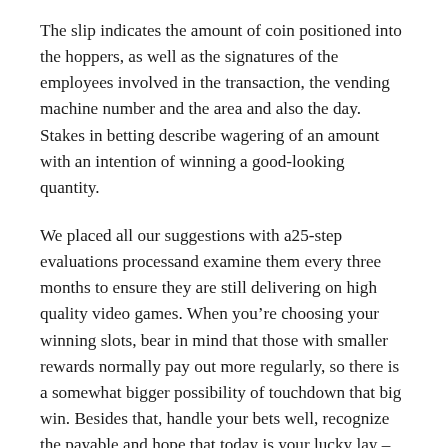The slip indicates the amount of coin positioned into the hoppers, as well as the signatures of the employees involved in the transaction, the vending machine number and the area and also the day. Stakes in betting describe wagering of an amount with an intention of winning a good-looking quantity.
We placed all our suggestions with a25-step evaluations processand examine them every three months to ensure they are still delivering on high quality video games. When you're choosing your winning slots, bear in mind that those with smaller rewards normally pay out more regularly, so there is a somewhat bigger possibility of touchdown that big win. Besides that, handle your bets well, recognize the payable and hope that today is your lucky lay – after all, slots are entirely arbitrary.